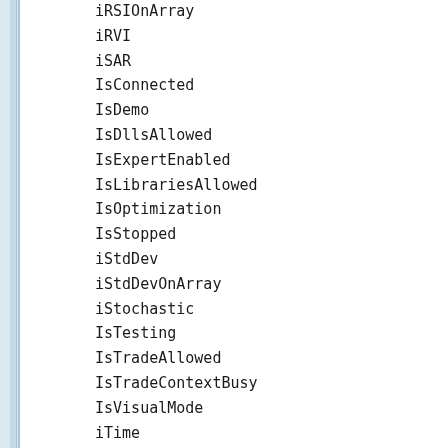iRSIOnArray
iRVI
iSAR
IsConnected
IsDemo
IsDllsAllowed
IsExpertEnabled
IsLibrariesAllowed
IsOptimization
IsStopped
iStdDev
iStdDevOnArray
iStochastic
IsTesting
IsTradeAllowed
IsTradeContextBusy
IsVisualMode
iTime
iVolume
iWPR
MarketInfo
MathAbs
MathArccos
MathArcsin